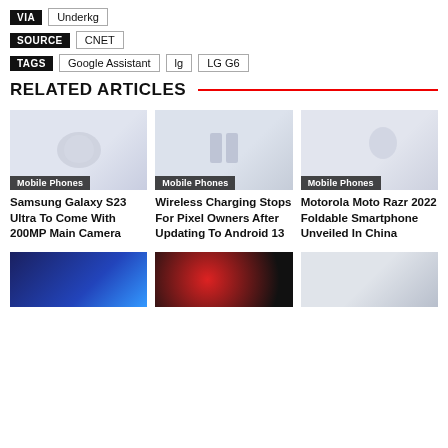VIA  Underkg
SOURCE  CNET
TAGS  Google Assistant  lg  LG G6
RELATED ARTICLES
[Figure (photo): Article thumbnail – Mobile Phones category]
Samsung Galaxy S23 Ultra To Come With 200MP Main Camera
[Figure (photo): Article thumbnail – Mobile Phones category]
Wireless Charging Stops For Pixel Owners After Updating To Android 13
[Figure (photo): Article thumbnail – Mobile Phones category]
Motorola Moto Razr 2022 Foldable Smartphone Unveiled In China
[Figure (photo): Bottom thumbnail image 1]
[Figure (photo): Bottom thumbnail image 2]
[Figure (photo): Bottom thumbnail image 3]